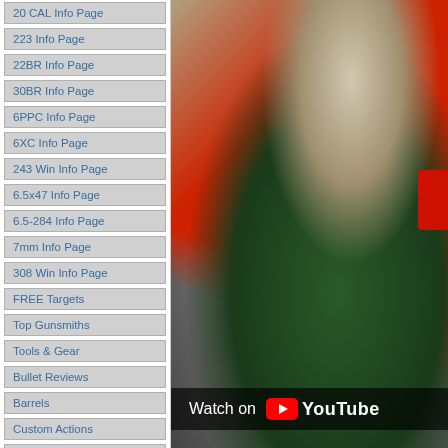20 CAL Info Page
223 Info Page
22BR Info Page
30BR Info Page
6PPC Info Page
6XC Info Page
243 Win Info Page
6.5x47 Info Page
6.5-284 Info Page
7mm Info Page
308 Win Info Page
FREE Targets
Top Gunsmiths
Tools & Gear
Bullet Reviews
Barrels
Custom Actions
Gun Stocks
Scopes & Optics
Vendor List
Reader POLLS
Event Calendar
[Figure (photo): A young man holding a rifle at what appears to be a gun show or indoor exhibition. He is wearing a green sweatshirt. The background shows a warehouse-like interior with other people visible. A 'Watch on YouTube' overlay is shown at the bottom of the image.]